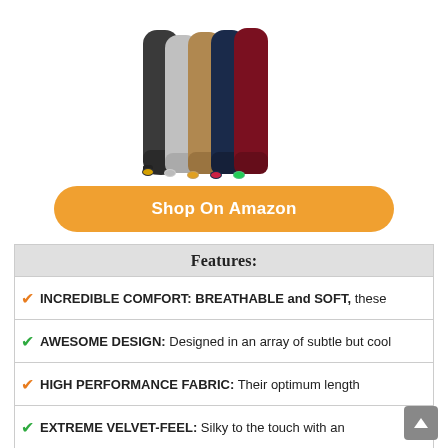[Figure (photo): Five knee-high wool socks in different colors (dark gray, light gray, tan/brown, navy blue, burgundy/maroon) arranged side by side, each with a colored toe cap.]
Shop On Amazon
Features:
INCREDIBLE COMFORT: BREATHABLE and SOFT, these
AWESOME DESIGN: Designed in an array of subtle but cool
HIGH PERFORMANCE FABRIC: Their optimum length
EXTREME VELVET-FEEL: Silky to the touch with an
RISK FREE: If for any reason our product isn't good enough